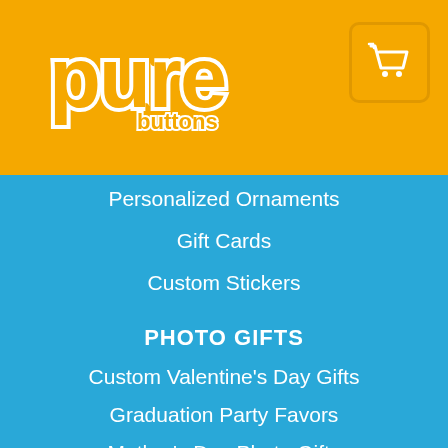[Figure (logo): Pure Buttons logo in white on orange background with shopping cart icon]
Personalized Ornaments
Gift Cards
Custom Stickers
PHOTO GIFTS
Custom Valentine's Day Gifts
Graduation Party Favors
Mother's Day Photo Gifts
Father's Day Photo Gifts